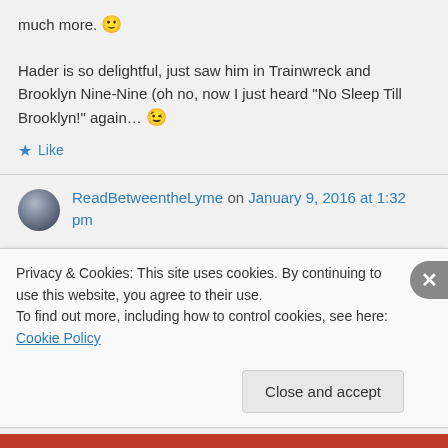much more. 🙂 Hader is so delightful, just saw him in Trainwreck and Brooklyn Nine-Nine (oh no, now I just heard “No Sleep Till Brooklyn!” again... 😉
★ Like
ReadBetweentheLyme on January 9, 2016 at 1:32 pm
Privacy & Cookies: This site uses cookies. By continuing to use this website, you agree to their use.
To find out more, including how to control cookies, see here: Cookie Policy
Close and accept